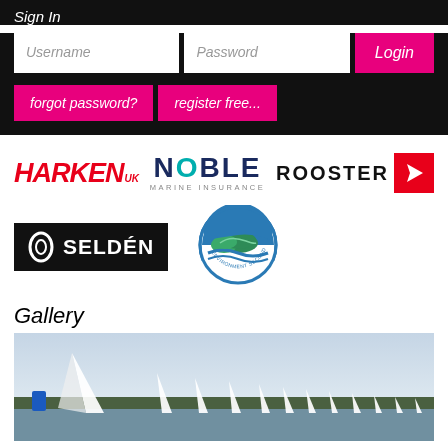Sign In
Username
Password
Login
forgot password?
register free...
[Figure (logo): HARKEN UK logo in red italic bold text]
[Figure (logo): NOBLE MARINE INSURANCE logo with teal O]
[Figure (logo): ROOSTER logo with red box and white bird]
[Figure (logo): SELDEN logo black background white text with oval emblem]
[Figure (logo): The Green Blue circular badge logo]
Gallery
[Figure (photo): Sailing photo showing multiple white sail boats on a lake with trees in background and cloudy sky]